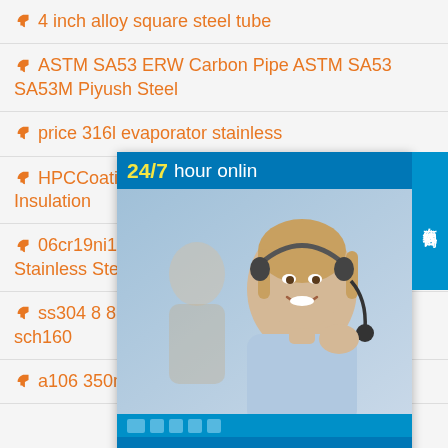4 inch alloy square steel tube
ASTM SA53 ERW Carbon Pipe ASTM SA53 SA53M Piyush Steel
price 316l evaporator stainless
HPCCoatingHot Pipe Coating C Insulation
06cr19ni10 Stainless Steel Tub Stainless Steel
ss304 8 8 inch drain seamless steel pipe sch160
a106 350mm diameter steel pipe price per foot
[Figure (screenshot): Chat widget overlay showing a customer service representative wearing a headset, with '24/7 hour online' header in blue/yellow, photo of smiling woman agent, dots row, and 'Click to chat' button at bottom. A vertical Chinese text tab on the right reads '在线咨询' (online consultation).]